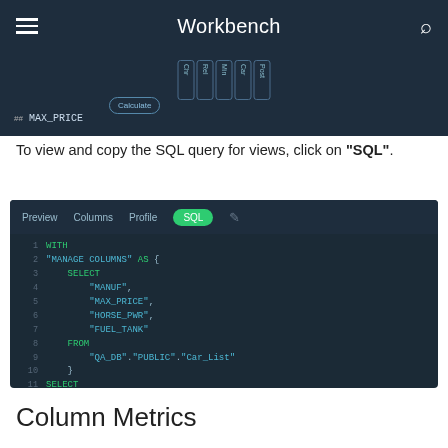Workbench
[Figure (screenshot): Partial screenshot of Workbench UI showing a row with MAX_PRICE column and a Calculate button, with tab buttons (Chr, Rel, Min, Car, Post) across the top.]
To view and copy the SQL query for views, click on "SQL".
[Figure (screenshot): Screenshot of SQL editor in Workbench showing tabs: Preview, Columns, Profile, SQL (active). Code editor displays a WITH statement selecting MANUF, MAX_PRICE, HORSE_PWR, FUEL_TANK FROM QA_DB.PUBLIC.Car_List followed by SELECT *.]
Column Metrics
You can investigate column metrics in the 'Profile' tab for any data type. For each column a statistic can be shown.